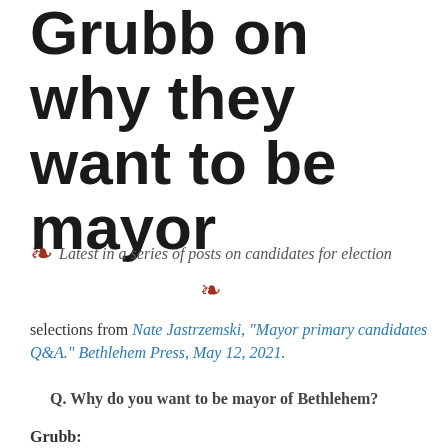Grubb on why they want to be mayor
Latest in a series of posts on candidates for election
selections from Nate Jastrzemski, "Mayor primary candidates Q&A." Bethlehem Press, May 12, 2021.
Q. Why do you want to be mayor of Bethlehem?
Grubb: